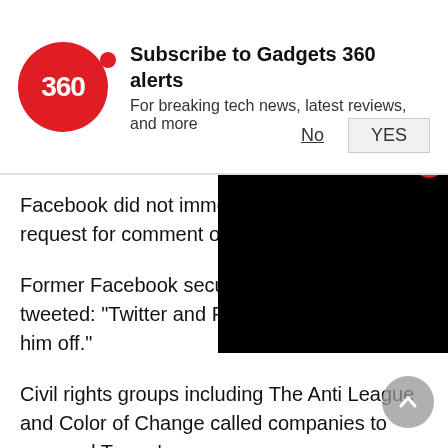[Figure (logo): Gadgets 360 subscribe notification banner with red circular logo showing '360', bold title 'Subscribe to Gadgets 360 alerts', subtitle 'For breaking tech news, latest reviews, and more', and No/YES buttons]
Facebook did not immediately respond to a request for comment on the internal posts.
Former Facebook security chief Alex Stamos tweeted: "Twitter and Facebook have to cut him off."
Civil rights groups including The Anti- League and Color of Change called companies to suspend Trump's acco
According to researchers and public postings, violent rhetoric and advice on weaponry ramped up significantly in the past three weeks on many social